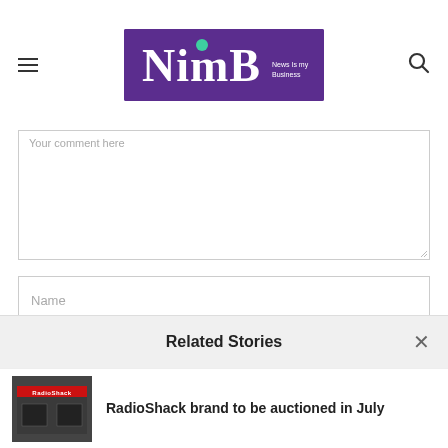NimB — News Is my Business
[Figure (screenshot): Comment form with textarea, Name field, Email field partially visible]
Related Stories
RadioShack brand to be auctioned in July